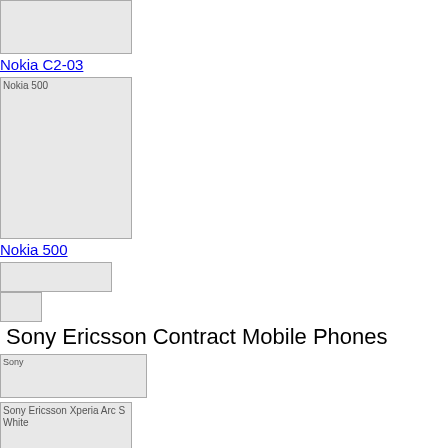[Figure (photo): Nokia C2-03 phone image placeholder (partially visible at top)]
Nokia C2-03
[Figure (photo): Nokia 500 phone image placeholder]
Nokia 500
[Figure (other): Small icon images (navigation/breadcrumb icons)]
Sony Ericsson Contract Mobile Phones
[Figure (logo): Sony logo image]
[Figure (photo): Sony Ericsson Xperia Arc S White phone image]
Sony Ericsson Xperia Arc S White
[Figure (photo): Sony Ericsson Xperia neo V white phone image]
Sony Ericsson Xperia neo V white
[Figure (photo): Sony Ericsson phone image (partially visible at bottom)]